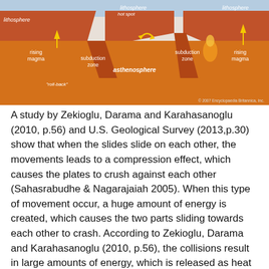[Figure (schematic): Geological cross-section diagram showing lithosphere, asthenosphere, subduction zones, hot spot, rising magma, and roll-back. Labels include lithosphere (left, center, right), hot spot, subduction zone (two), rising magma (two), asthenosphere, and roll-back. Copyright 2007 Encyclopaedia Britannica, Inc.]
A study by Zekioglu, Darama and Karahasanoglu (2010, p.56) and U.S. Geological Survey (2013,p.30) show that when the slides slide on each other, the movements leads to a compression effect, which causes the plates to crush against each other (Sahasrabudhe & Nagarajaiah 2005). When this type of movement occur, a huge amount of energy is created, which causes the two parts sliding towards each other to crash. According to Zekioglu, Darama and Karahasanoglu (2010, p.56), the collisions result in large amounts of energy, which is released as heat energy. The heat energy is the cause of the volcanic activities observed when earthquakes occur. It has been established that the frequency of earthquakes at the boundaries are very high. The movement of the